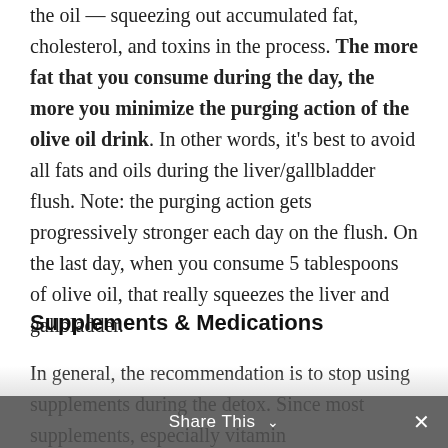the oil — squeezing out accumulated fat, cholesterol, and toxins in the process. The more fat that you consume during the day, the more you minimize the purging action of the olive oil drink. In other words, it's best to avoid all fats and oils during the liver/gallbladder flush. Note: the purging action gets progressively stronger each day on the flush. On the last day, when you consume 5 tablespoons of olive oil, that really squeezes the liver and gallbladder.
Supplements & Medications
In general, the recommendation is to stop using supplements during the detox. Since most supplements, especially vitamin
Share This ∨  ×